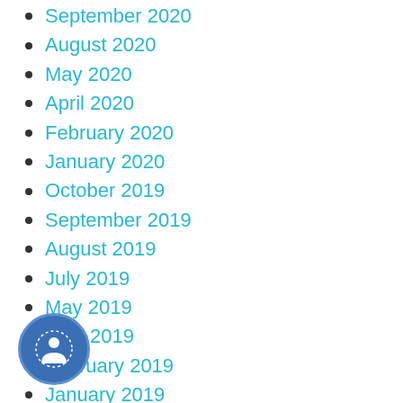September 2020
August 2020
May 2020
April 2020
February 2020
January 2020
October 2019
September 2019
August 2019
July 2019
May 2019
April 2019
February 2019
January 2019
October 2018
August 2018
July 2018
April 2018
[Figure (logo): Circular icon with a person/user silhouette and dashed border ring, blue background]